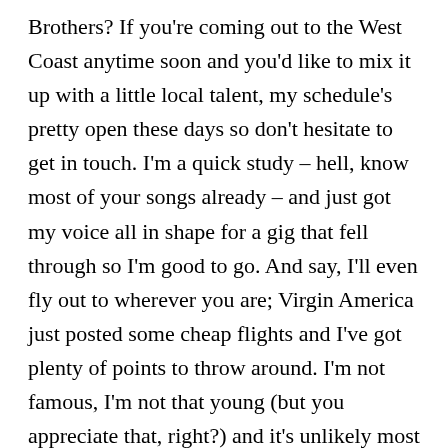Brothers? If you're coming out to the West Coast anytime soon and you'd like to mix it up with a little local talent, my schedule's pretty open these days so don't hesitate to get in touch. I'm a quick study – hell, know most of your songs already – and just got my voice all in shape for a gig that fell through so I'm good to go. And say, I'll even fly out to wherever you are; Virgin America just posted some cheap flights and I've got plenty of points to throw around. I'm not famous, I'm not that young (but you appreciate that, right?) and it's unlikely most of my '80's mailing list would overcome their stated geezerdom to get out of the house for a gig. But I've still got a few fans who are mobile, I've